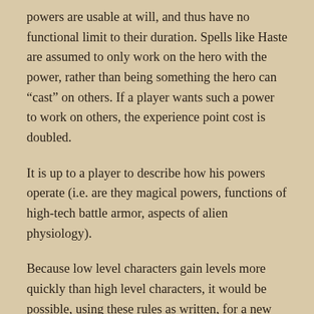powers are usable at will, and thus have no functional limit to their duration. Spells like Haste are assumed to only work on the hero with the power, rather than being something the hero can “cast” on others. If a player wants such a power to work on others, the experience point cost is doubled.
It is up to a player to describe how his powers operate (i.e. are they magical powers, functions of high-tech battle armor, aspects of alien physiology).
Because low level characters gain levels more quickly than high level characters, it would be possible, using these rules as written, for a new character to load up on super-powers, come in at a low level, and then quickly catch up to players who opted to take more